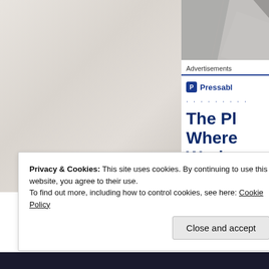[Figure (photo): Background photo split: left side shows light textured/stone surface, right upper corner shows darker gray stone or tile shapes]
Advertisements
[Figure (logo): Pressable logo with blue square icon containing P and text 'Pressable' in dark blue]
. . . . . . . . .
The Pl Where Works
Privacy & Cookies: This site uses cookies. By continuing to use this website, you agree to their use.
To find out more, including how to control cookies, see here: Cookie Policy
Close and accept